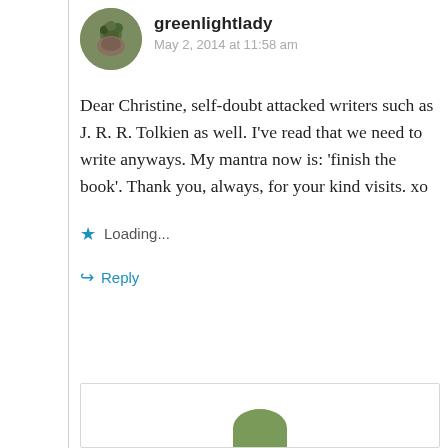[Figure (photo): Circular avatar photo of greenlightlady user, showing a person outdoors with green foliage]
greenlightlady
May 2, 2014 at 11:58 am
Dear Christine, self-doubt attacked writers such as J. R. R. Tolkien as well. I've read that we need to write anyways. My mantra now is: 'finish the book'. Thank you, always, for your kind visits. xo
Loading...
Reply